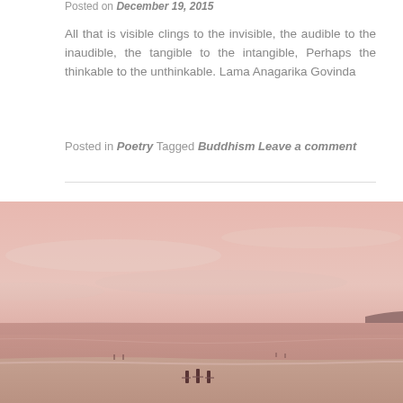Posted on December 19, 2015
All that is visible clings to the invisible, the audible to the inaudible, the tangible to the intangible, Perhaps the thinkable to the unthinkable. Lama Anagarika Govinda
Posted in Poetry Tagged Buddhism Leave a comment
[Figure (photo): Beach scene with pink/rose-toned sky and ocean. Several surfers or people carrying surfboards walking along the shoreline. Mountains visible in the distant background. Warm pastel tones throughout.]